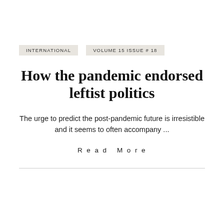INTERNATIONAL   VOLUME 15 ISSUE # 18
How the pandemic endorsed leftist politics
The urge to predict the post-pandemic future is irresistible and it seems to often accompany ...
Read More